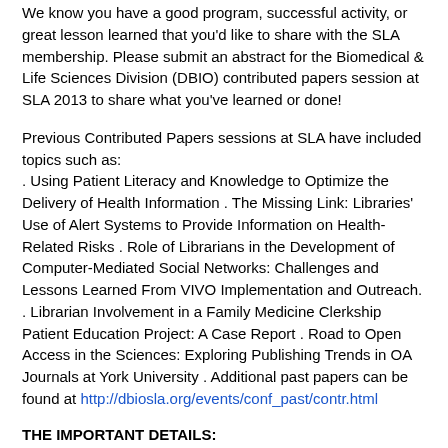We know you have a good program, successful activity, or great lesson learned that you'd like to share with the SLA membership. Please submit an abstract for the Biomedical & Life Sciences Division (DBIO) contributed papers session at SLA 2013 to share what you've learned or done!
Previous Contributed Papers sessions at SLA have included topics such as:
. Using Patient Literacy and Knowledge to Optimize the Delivery of Health Information . The Missing Link: Libraries' Use of Alert Systems to Provide Information on Health-Related Risks . Role of Librarians in the Development of Computer-Mediated Social Networks: Challenges and Lessons Learned From VIVO Implementation and Outreach.
. Librarian Involvement in a Family Medicine Clerkship Patient Education Project: A Case Report . Road to Open Access in the Sciences: Exploring Publishing Trends in OA Journals at York University . Additional past papers can be found at http://dbiosla.org/events/conf_past/contr.html
THE IMPORTANT DETAILS:
The SLA Biomedical & Life Sciences Division Contributed Papers Committee invites proposals for papers presenting original research, innovative projects or other professional activities of interest to the SLA Biomedical and Life Sciences Division. SLA 2013 will be held June 9 -11